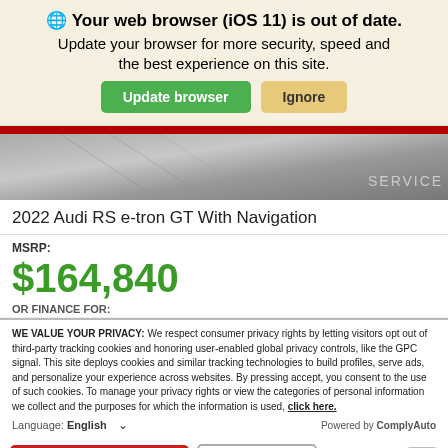🌐 Your web browser (iOS 11) is out of date.
Update your browser for more security, speed and the best experience on this site.
[Figure (screenshot): Audi car service image with geometric pattern and SERVICE text label]
2022 Audi RS e-tron GT With Navigation
MSRP:
$164,840
OR FINANCE FOR:
WE VALUE YOUR PRIVACY: We respect consumer privacy rights by letting visitors opt out of third-party tracking cookies and honoring user-enabled global privacy controls, like the GPC signal. This site deploys cookies and similar tracking technologies to build profiles, serve ads, and personalize your experience across websites. By pressing accept, you consent to the use of such cookies. To manage your privacy rights or view the categories of personal information we collect and the purposes for which the information is used, click here.
Language: English
Powered by ComplyAuto